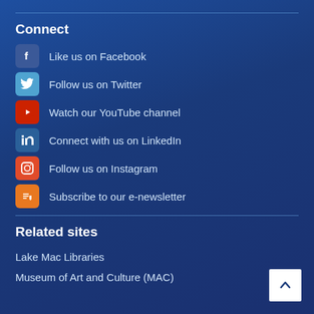Connect
Like us on Facebook
Follow us on Twitter
Watch our YouTube channel
Connect with us on LinkedIn
Follow us on Instagram
Subscribe to our e-newsletter
Related sites
Lake Mac Libraries
Museum of Art and Culture (MAC)